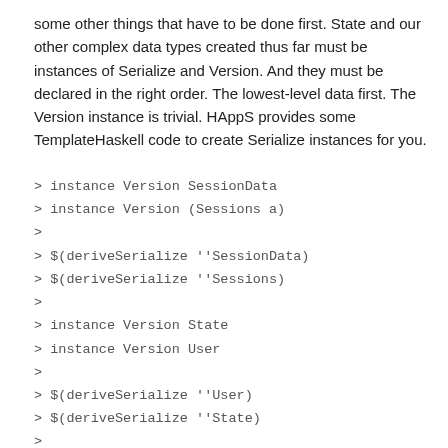some other things that have to be done first. State and our other complex data types created thus far must be instances of Serialize and Version. And they must be declared in the right order. The lowest-level data first. The Version instance is trivial. HAppS provides some TemplateHaskell code to create Serialize instances for you.
> instance Version SessionData
> instance Version (Sessions a)
>
> $(deriveSerialize ''SessionData)
> $(deriveSerialize ''Sessions)
>
> instance Version State
> instance Version User
>
> $(deriveSerialize ''User)
> $(deriveSerialize ''State)
>